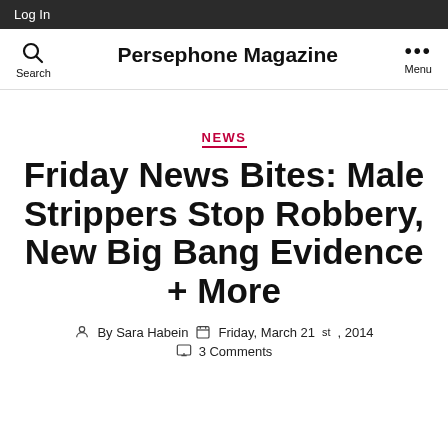Log In
Persephone Magazine
NEWS
Friday News Bites: Male Strippers Stop Robbery, New Big Bang Evidence + More
By Sara Habein  Friday, March 21st, 2014
3 Comments